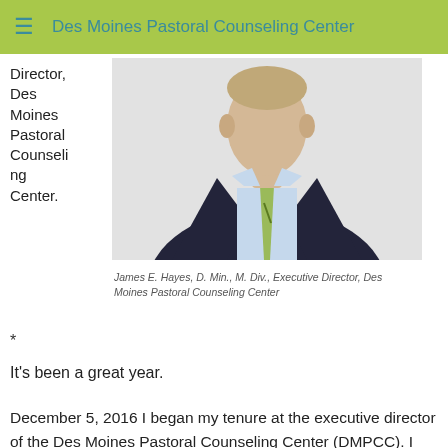≡  Des Moines Pastoral Counseling Center
Director, Des Moines Pastoral Counseling Center.
[Figure (photo): Headshot of James E. Hayes in a dark suit, light blue shirt, and green tie against a light background.]
James E. Hayes, D. Min., M. Div., Executive Director, Des Moines Pastoral Counseling Center
*
It's been a great year.
December 5, 2016 I began my tenure at the executive director of the Des Moines Pastoral Counseling Center (DMPCC). I had the privilege of two weeks of sitting at the feet of Ellery Duke who served this institution for forty years. He didn't quite impart all his wisdom in that time, but had a